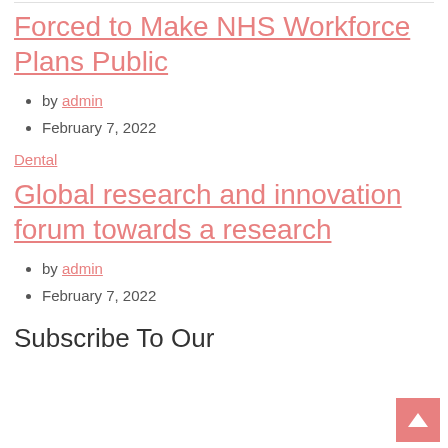Forced to Make NHS Workforce Plans Public
by admin
February 7, 2022
Dental
Global research and innovation forum towards a research
by admin
February 7, 2022
Subscribe To Our